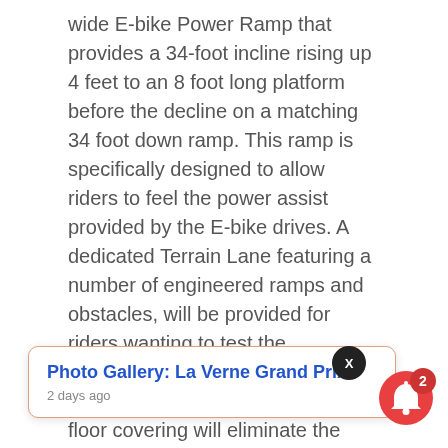wide E-bike Power Ramp that provides a 34-foot incline rising up 4 feet to an 8 foot long platform before the decline on a matching 34 foot down ramp. This ramp is specifically designed to allow riders to feel the power assist provided by the E-bike drives. A dedicated Terrain Lane featuring a number of engineered ramps and obstacles, will be provided for riders wanting to test the capabilities of the emerging breed of Fat Bikes. Finally, a non-woven floor covering will eliminate the challenge of the polished concrete exhibition floor.
"With the addition of the new hall and space at Mandalay Bay it's allowing us to create a legitimate, professional test track facility on the show floor in a cool, comfortable environment", said Pat Hus, Vice President of Interbike. [partially obscured] t that the track [partially obscured] ture of the show that will be very important for years to come."
[Figure (other): Popup notification card with orange border showing 'Photo Gallery: La Verne Grand Prix' link in blue bold text, dated '2 days ago', with a dark circular X close button in top right, and a red notification bell icon with badge showing '2' in bottom right corner of the page.]